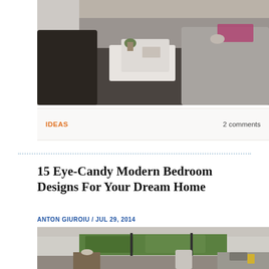[Figure (photo): Interior photo of a modern living room with a grey sofa, white coffee tables, dark shaggy rug, and pink flower accents]
IDEAS
2 comments
15 Eye-Candy Modern Bedroom Designs For Your Dream Home
ANTON GIUROIU / JUL 29, 2014
[Figure (photo): Modern bedroom with floor-to-ceiling glass windows overlooking lush green forest hills, featuring minimalist furniture including a chair, side table, and bed with pillows]